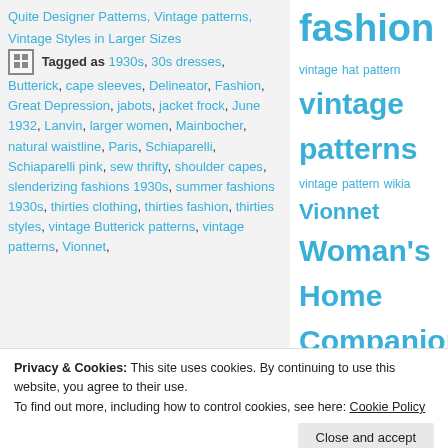Quite Designer Patterns, Vintage patterns, Vintage Styles in Larger Sizes
Tagged as 1930s, 30s dresses, Butterick, cape sleeves, Delineator, Fashion, Great Depression, jabots, jacket frock, June 1932, Lanvin, larger women, Mainbocher, natural waistline, Paris, Schiaparelli, Schiaparelli pink, sew thrifty, shoulder capes, slenderizing fashions 1930s, summer fashions 1930s, thirties clothing, thirties fashion, thirties styles, vintage Butterick patterns, vintage patterns, Vionnet,
fashion vintage hat pattern vintage patterns vintage pattern wikia Vionnet Woman's Home Companion World War I zipper
Privacy & Cookies: This site uses cookies. By continuing to use this website, you agree to their use.
To find out more, including how to control cookies, see here: Cookie Policy
Close and accept
Everyday Fashions